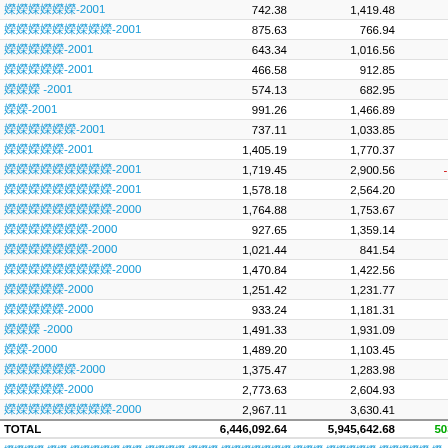| Name | Col1 | Col2 | Diff |
| --- | --- | --- | --- |
| [text]-2001 | 742.38 | 1,419.48 | -677 |
| [text]-2001 | 875.63 | 766.94 | 108 |
| [text]-2001 | 643.34 | 1,016.56 | -373 |
| [text]-2001 | 466.58 | 912.85 | -446 |
| [text] -2001 | 574.13 | 682.95 | -108 |
| [text]-2001 | 991.26 | 1,466.89 | -475 |
| [text]-2001 | 737.11 | 1,033.85 | -296 |
| [text]-2001 | 1,405.19 | 1,770.37 | -357 |
| [text]-2001 | 1,719.45 | 2,900.56 | -1,181 |
| [text]-2001 | 1,578.18 | 2,564.20 | -924 |
| [text]-2000 | 1,764.88 | 1,753.67 | 11 |
| [text]-2000 | 927.65 | 1,359.14 | -431 |
| [text]-2000 | 1,021.44 | 841.54 | 179 |
| [text]-2000 | 1,470.84 | 1,422.56 | 243 |
| [text]-2000 | 1,251.42 | 1,231.77 | 19 |
| [text]-2000 | 933.24 | 1,181.31 | -248 |
| [text] -2000 | 1,491.33 | 1,931.09 | -439 |
| [text]-2000 | 1,489.20 | 1,103.45 | 385 |
| [text]-2000 | 1,375.47 | 1,283.98 | 91 |
| [text]-2000 | 2,773.63 | 2,604.93 | 168 |
| [text]-2000 | 2,967.11 | 3,630.41 | -663 |
| TOTAL | 6,446,092.64 | 5,945,642.68 | 503,358 |
[footer note text in non-Latin script]